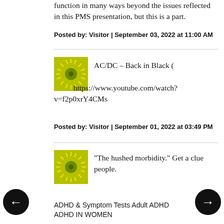function in many ways beyond the issues reflected in this PMS presentation, but this is a part.
Posted by: Visitor | September 03, 2022 at 11:00 AM
[Figure (logo): Green sun/burst icon avatar]
AC/DC – Back in Black (
https://www.youtube.com/watch?v=f2p0xrY4CMs
Posted by: Visitor | September 01, 2022 at 03:49 PM
[Figure (logo): Green sun/burst icon avatar]
"The hushed morbidity." Get a clue people.
ADHD & Symptom Tests Adult ADHD
ADHD IN WOMEN